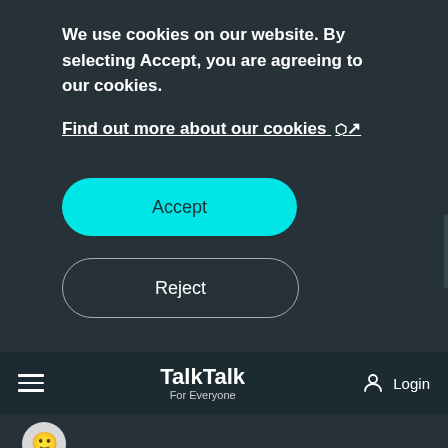We use cookies on our website. By selecting Accept, you are agreeing to our cookies.
Find out more about our cookies ↗
Accept
Reject
Feedback
[Figure (logo): TalkTalk For Everyone logo with hamburger menu and Login button]
[Figure (illustration): Smiley face avatar icon]
I am unable to download my emails to my iPhone whe...
by Avina on 30-04-2023 02:59 PM